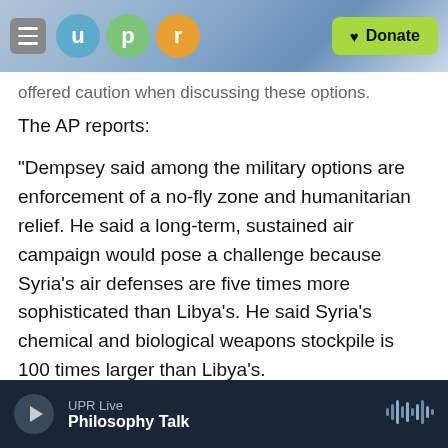[Figure (screenshot): UPR navigation bar with hamburger menu, UPR logo circles (u, p, r), and green Donate button]
offered caution when discussing these options. The AP reports:
"Dempsey said among the military options are enforcement of a no-fly zone and humanitarian relief. He said a long-term, sustained air campaign would pose a challenge because Syria's air defenses are five times more sophisticated than Libya's. He said Syria's chemical and biological weapons stockpile is 100 times larger than Libya's.
"He said suppressing the Syrian air defenses would take an extended period of time and a significant number of aircraft, an effort that would have to be
UPR Live  Philosophy Talk